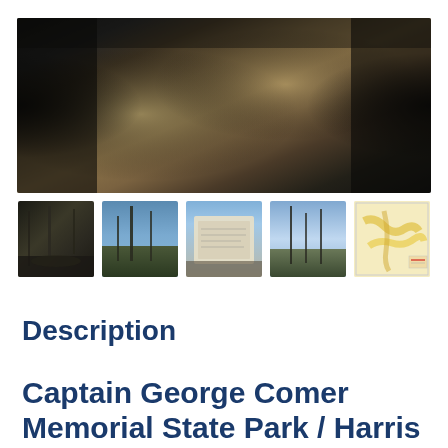[Figure (photo): Large panoramic header photo of a hillside with dry grass and leaf litter, dark soil banks on left and right edges]
[Figure (photo): Thumbnail 1: dark outdoor scene with bare trees and a path]
[Figure (photo): Thumbnail 2: outdoor trail scene with blue sky and bare trees]
[Figure (photo): Thumbnail 3: sign or marker in outdoor setting]
[Figure (photo): Thumbnail 4: outdoor trail or path with sky and trees]
[Figure (map): Thumbnail 5: small trail map with yellow/orange highlighted paths]
Description
Captain George Comer Memorial State Park / Harris Reserve
Connecticut State Park / East Haddam Land Trust